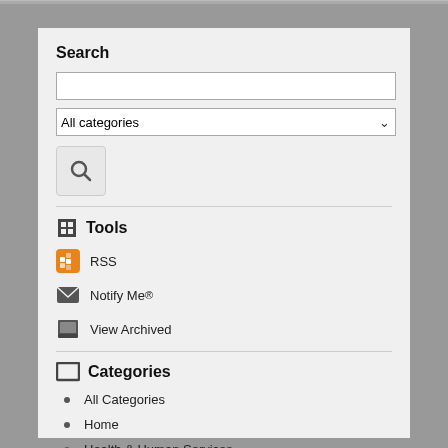Search
[Figure (screenshot): Search input text box]
[Figure (screenshot): All categories dropdown selector]
[Figure (screenshot): Search button with magnifying glass icon]
Tools
RSS
Notify Me®
View Archived
Categories
All Categories
Home
Health & Human Services
Transit Services
Community Development News
Library News